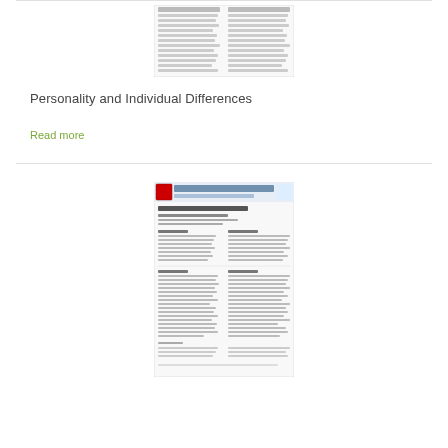[Figure (screenshot): Thumbnail image of a journal article page from Personality and Individual Differences (top portion, partial view)]
Personality and Individual Differences
Read more
[Figure (screenshot): Thumbnail image of a full journal article page from Personality and Individual Differences showing article title 'The Dynamic Analog Scale: a generic method for single-item measurement']
Personality and Individual Differences
Read more